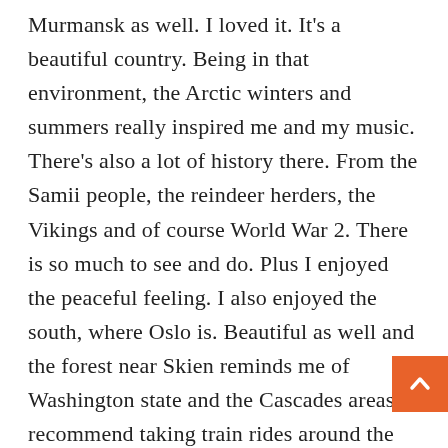Murmansk as well. I loved it. It's a beautiful country. Being in that environment, the Arctic winters and summers really inspired me and my music. There's also a lot of history there. From the Samii people, the reindeer herders, the Vikings and of course World War 2. There is so much to see and do. Plus I enjoyed the peaceful feeling. I also enjoyed the south, where Oslo is. Beautiful as well and the forest near Skien reminds me of Washington state and the Cascades areas. I recommend taking train rides around the Oslo area. The city itself is beautiful and fun to explore. Also Bergen is an amazing city, a place where music and arts rule. There's also amazing musicians and groups from Norway, such as Biosphere, Bel Canto, Donkeyboy and so many more.